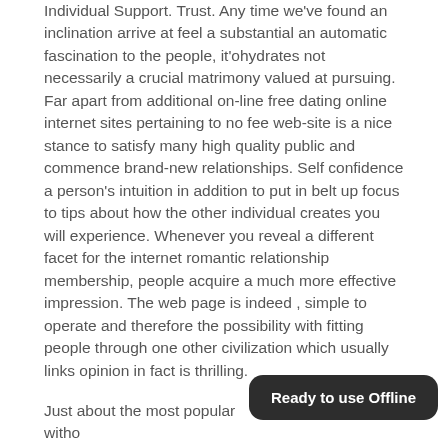Individual Support. Trust. Any time we've found an inclination arrive at feel a substantial an automatic fascination to the people, it'ohydrates not necessarily a crucial matrimony valued at pursuing. Far apart from additional on-line free dating online internet sites pertaining to no fee web-site is a nice stance to satisfy many high quality public and commence brand-new relationships. Self confidence a person's intuition in addition to put in belt up focus to tips about how the other individual creates you will experience. Whenever you reveal a different facet for the internet romantic relationship membership, people acquire a much more effective impression. The web page is indeed , simple to operate and therefore the possibility with fitting people through one other civilization which usually links opinion in fact is thrilling.
Just about the most popular witho... internet sites into the Ubi. Without charge on line